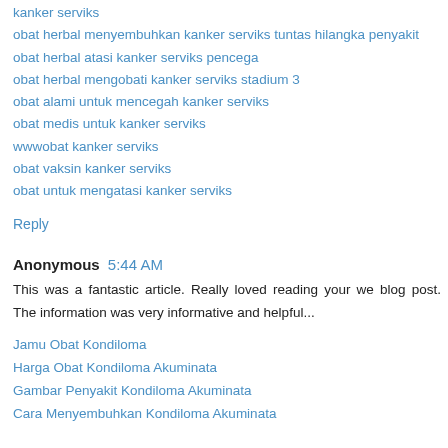kanker serviks
obat herbal menyembuhkan kanker serviks tuntas hilangka penyakit
obat herbal atasi kanker serviks pencega
obat herbal mengobati kanker serviks stadium 3
obat alami untuk mencegah kanker serviks
obat medis untuk kanker serviks
wwwobat kanker serviks
obat vaksin kanker serviks
obat untuk mengatasi kanker serviks
Reply
Anonymous  5:44 AM
This was a fantastic article. Really loved reading your we blog post. The information was very informative and helpful...
Jamu Obat Kondiloma
Harga Obat Kondiloma Akuminata
Gambar Penyakit Kondiloma Akuminata
Cara Menyembuhkan Kondiloma Akuminata